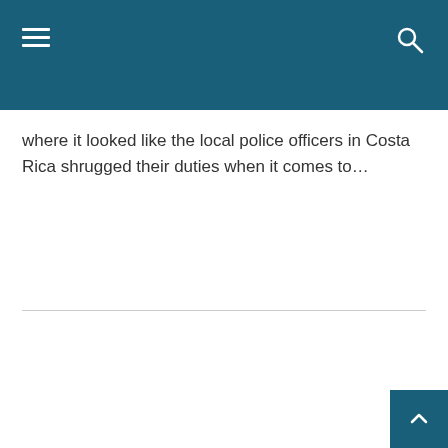Navigation header with hamburger menu and search icon
where it looked like the local police officers in Costa Rica shrugged their duties when it comes to…